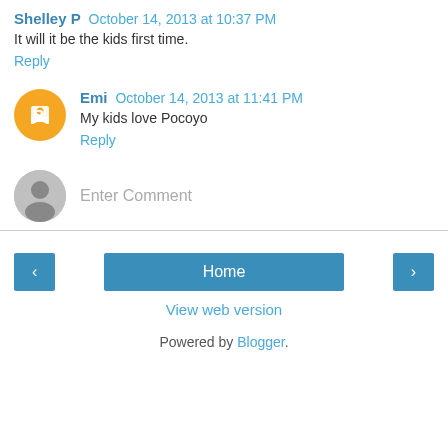Shelley P  October 14, 2013 at 10:37 PM
It will it be the kids first time.
Reply
Emi  October 14, 2013 at 11:41 PM
My kids love Pocoyo
Reply
Enter Comment
Home
View web version
Powered by Blogger.